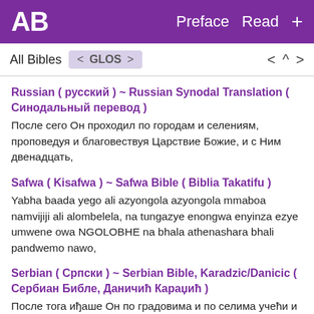AB  Preface  Read  +
All Bibles  < GLOS >   <  ^  >
Russian ( русский ) ~ Russian Synodal Translation ( Синодальный перевод )
После сего Он проходил по городам и селениям, проповедуя и благовествуя Царствие Божие, и с Ним двенадцать,
Safwa ( Kisafwa ) ~ Safwa Bible ( Biblia Takatifu )
Yabha baada yego ali azyongola azyongola mmaboa namvijiji ali alombelela, na tungazye enongwa enyinza ezye umwene owa NGOLOBHE na bhala athenashara bhali pandwemo nawo,
Serbian ( Српски ) ~ Serbian Bible, Karadzic/Danicic ( Сербиан Библе, Даничић Караџић )
После тога иђаше Он по градовима и по селима учећи и